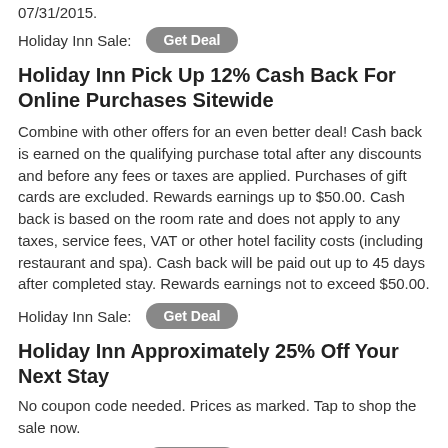07/31/2015.
Holiday Inn Sale:  [Get Deal]
Holiday Inn Pick Up 12% Cash Back For Online Purchases Sitewide
Combine with other offers for an even better deal! Cash back is earned on the qualifying purchase total after any discounts and before any fees or taxes are applied. Purchases of gift cards are excluded. Rewards earnings up to $50.00. Cash back is based on the room rate and does not apply to any taxes, service fees, VAT or other hotel facility costs (including restaurant and spa). Cash back will be paid out up to 45 days after completed stay. Rewards earnings not to exceed $50.00.
Holiday Inn Sale:  [Get Deal]
Holiday Inn Approximately 25% Off Your Next Stay
No coupon code needed. Prices as marked. Tap to shop the sale now.
Holiday Inn Sale:  [Get Deal]
Holiday Inn Take Up To 70% Off Category With Club...